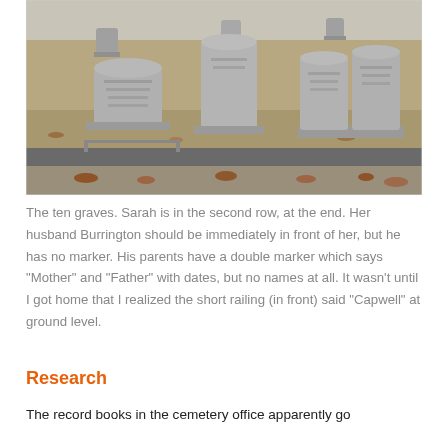[Figure (photo): A cemetery scene showing ten graves with grey headstones on dry brown grass. A stone curb border and fallen autumn leaves are visible in the foreground.]
The ten graves. Sarah is in the second row, at the end. Her husband Burrington should be immediately in front of her, but he has no marker. His parents have a double marker which says “Mother” and “Father” with dates, but no names at all. It wasn’t until I got home that I realized the short railing (in front) said “Capwell” at ground level.
Research
The record books in the cemetery office apparently go